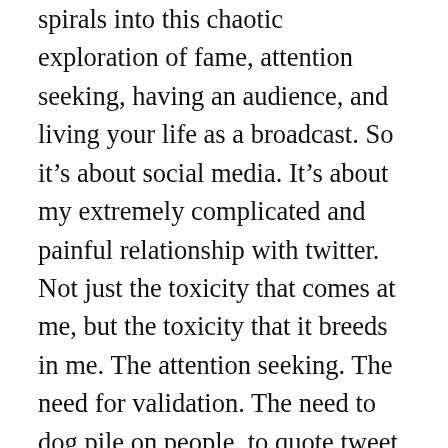spirals into this chaotic exploration of fame, attention seeking, having an audience, and living your life as a broadcast. So it's about social media. It's about my extremely complicated and painful relationship with twitter. Not just the toxicity that comes at me, but the toxicity that it breeds in me. The attention seeking. The need for validation. The need to dog pile on people, to quote tweet and dunk on people. So many things that I realized were eating at my soul. It fuels this self-destructiveness in myself so I decided to turn that into this externalized story about a young woman who is in a position where there's tons of attention on her that she's trying to navigate in increasingly destructive ways. I think its one of the strongest things I've ever